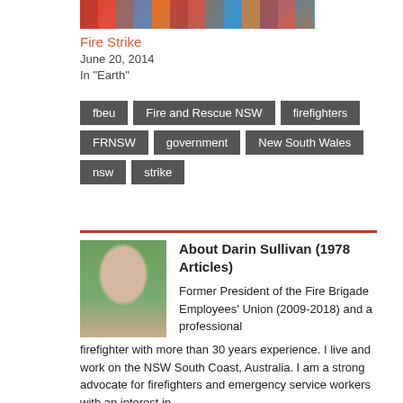[Figure (photo): Crowd/protest image at top - Fire Strike related]
Fire Strike
June 20, 2014
In "Earth"
fbeu
Fire and Rescue NSW
firefighters
FRNSW
government
New South Wales
nsw
strike
[Figure (photo): Headshot photo of Darin Sullivan, a man in firefighter uniform and cap, outdoors]
About Darin Sullivan (1978 Articles)
Former President of the Fire Brigade Employees' Union (2009-2018) and a professional firefighter with more than 30 years experience. I live and work on the NSW South Coast, Australia. I am a strong advocate for firefighters and emergency service workers with an interest in